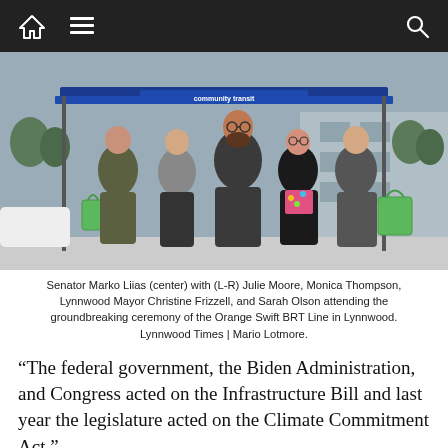[Navigation bar with home, menu, and search icons]
[Figure (photo): Five people standing under a blue Community Transit canopy tent at the groundbreaking ceremony of the Orange Swift BRT Line in Lynnwood. Senator Marko Liias is in the center.]
Senator Marko Liias (center) with (L-R) Julie Moore, Monica Thompson, Lynnwood Mayor Christine Frizzell, and Sarah Olson attending the groundbreaking ceremony of the Orange Swift BRT Line in Lynnwood. Lynnwood Times | Mario Lotmore.
“The federal government, the Biden Administration, and Congress acted on the Infrastructure Bill and last year the legislature acted on the Climate Commitment Act,”